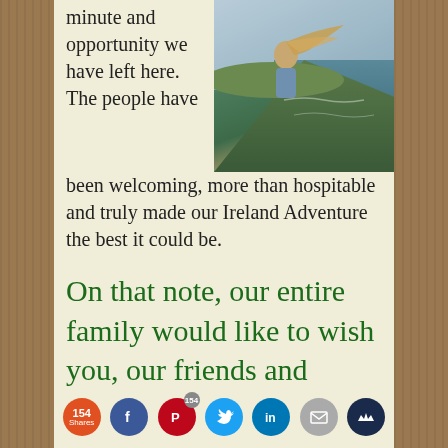minute and opportunity we have left here.  The people have been welcoming, more than hospitable and truly made our Ireland Adventure the best it could be.
[Figure (photo): Person with long windswept blonde hair standing on a cliff overlooking the sea in Ireland]
On that note, our entire family would like to wish you, our friends and family, a Happy Saint Patrick's Day!
[Figure (infographic): Social sharing bar with share count (154 Shares), Facebook, Pinterest (154), Twitter, LinkedIn, Email, and bookmark icons]